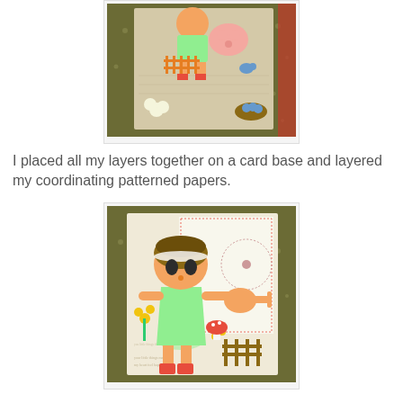[Figure (photo): A handmade greeting card with paper cutout decorations including a cartoon girl figure, flowers, birds, and a bird nest with eggs, displayed on a green patterned background.]
I placed all my layers together on a card base and layered my coordinating patterned papers.
[Figure (photo): A close-up of a handmade card showing a cartoon girl paper cutout wearing a green dress and red boots, holding a watering can, with yellow flowers, mushrooms, and a fence on a textured background.]